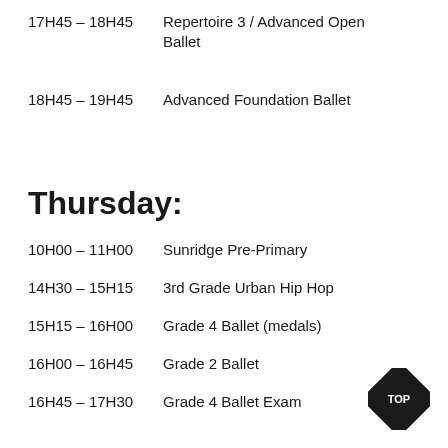17H45 – 18H45    Repertoire 3 / Advanced Open Ballet
18H45 – 19H45    Advanced Foundation Ballet
Thursday:
10H00 – 11H00    Sunridge Pre-Primary
14H30 – 15H15    3rd Grade Urban Hip Hop
15H15 – 16H00    Grade 4 Ballet (medals)
16H00 – 16H45    Grade 2 Ballet
16H45 – 17H30    Grade 4 Ballet Exam
[Figure (illustration): Black diamond-shaped badge with 'TOP' text in white]